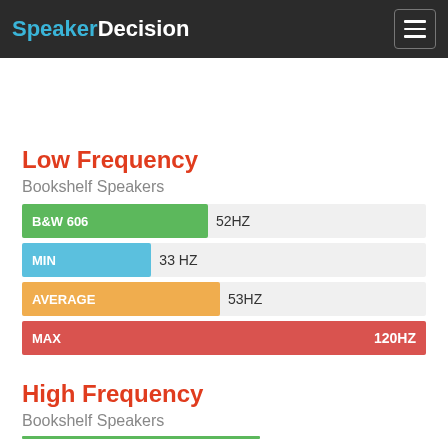SpeakerDecision
Low Frequency
Bookshelf Speakers
[Figure (bar-chart): Low Frequency - Bookshelf Speakers]
High Frequency
Bookshelf Speakers